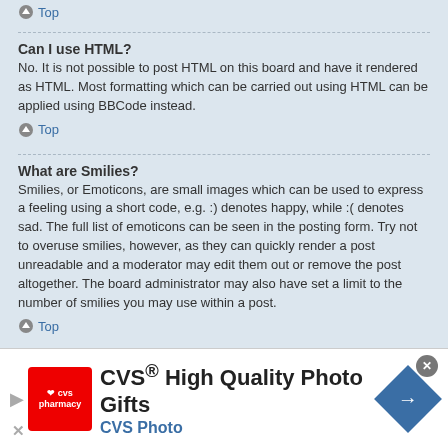Top
Can I use HTML?
No. It is not possible to post HTML on this board and have it rendered as HTML. Most formatting which can be carried out using HTML can be applied using BBCode instead.
Top
What are Smilies?
Smilies, or Emoticons, are small images which can be used to express a feeling using a short code, e.g. :) denotes happy, while :( denotes sad. The full list of emoticons can be seen in the posting form. Try not to overuse smilies, however, as they can quickly render a post unreadable and a moderator may edit them out or remove the post altogether. The board administrator may also have set a limit to the number of smilies you may use within a post.
Top
Can I post images?
Yes, images can be shown in your posts. If the administrator has allowed
[Figure (illustration): CVS Pharmacy advertisement banner: CVS High Quality Photo Gifts, CVS Photo]